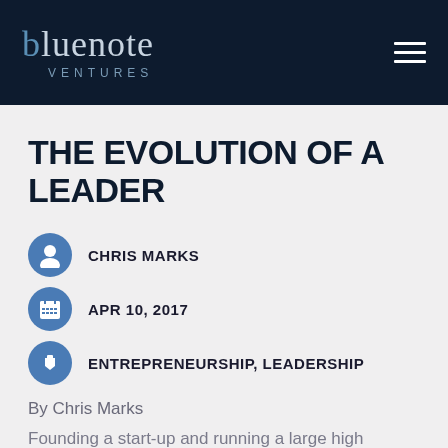bluenote VENTURES
THE EVOLUTION OF A LEADER
CHRIS MARKS
APR 10, 2017
ENTREPRENEURSHIP, LEADERSHIP
By Chris Marks
Founding a start-up and running a large high